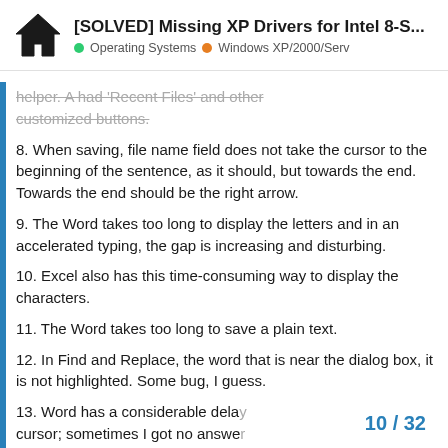[SOLVED] Missing XP Drivers for Intel 8-S... | Operating Systems | Windows XP/2000/Serv
helper. A had 'Recent Files' and other customized buttons.
8. When saving, file name field does not take the cursor to the beginning of the sentence, as it should, but towards the end. Towards the end should be the right arrow.
9. The Word takes too long to display the letters and in an accelerated typing, the gap is increasing and disturbing.
10. Excel also has this time-consuming way to display the characters.
11. The Word takes too long to save a plain text.
12. In Find and Replace, the word that is near the dialog box, it is not highlighted. Some bug, I guess.
13. Word has a considerable dela cursor; sometimes I got no answe
10 / 32